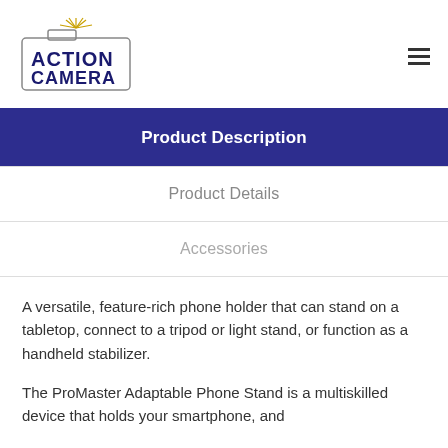[Figure (logo): Action Camera logo with camera icon and sunburst, text ACTION CAMERA in navy blue]
Product Description
Product Details
Accessories
A versatile, feature-rich phone holder that can stand on a tabletop, connect to a tripod or light stand, or function as a handheld stabilizer.
The ProMaster Adaptable Phone Stand is a multiskilled device that holds your smartphone, and...